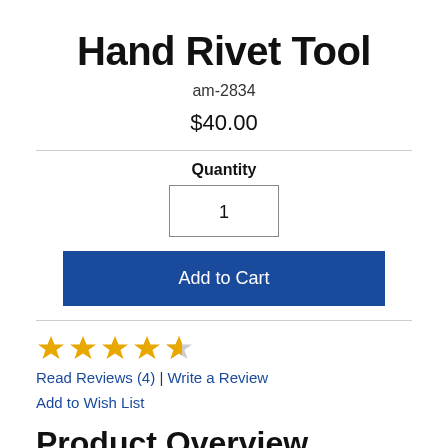Hand Rivet Tool
am-2834
$40.00
Quantity
1
Add to Cart
[Figure (other): 4.5 star rating display with gold stars]
Read Reviews (4) | Write a Review
Add to Wish List
Product Overview